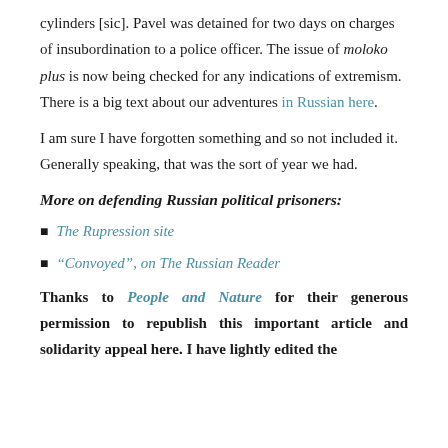cylinders [sic]. Pavel was detained for two days on charges of insubordination to a police officer. The issue of moloko plus is now being checked for any indications of extremism. There is a big text about our adventures in Russian here.
I am sure I have forgotten something and so not included it. Generally speaking, that was the sort of year we had.
More on defending Russian political prisoners:
The Rupression site
“Convoyed”, on The Russian Reader
Thanks to People and Nature for their generous permission to republish this important article and solidarity appeal here. I have lightly edited the original text to make it here more clearly to this